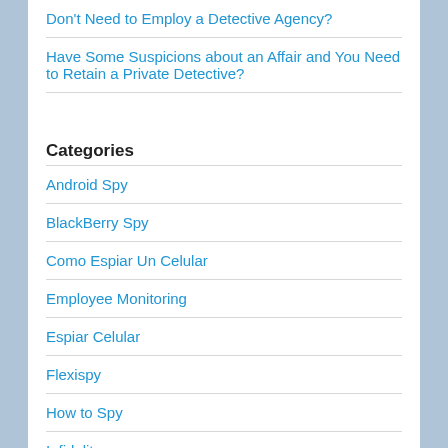Don't Need to Employ a Detective Agency?
Have Some Suspicions about an Affair and You Need to Retain a Private Detective?
Categories
Android Spy
BlackBerry Spy
Como Espiar Un Celular
Employee Monitoring
Espiar Celular
Flexispy
How to Spy
Infidelity